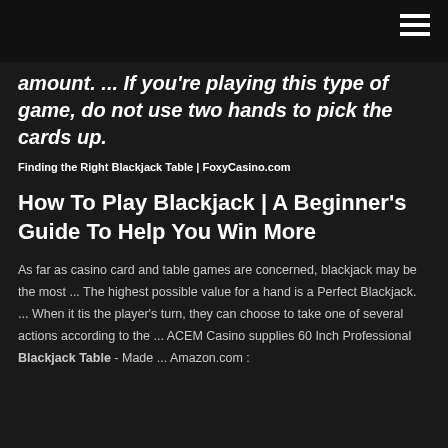amount. ... If you're playing this type of game, do not use two hands to pick the cards up.
Finding the Right Blackjack Table | FoxyCasino.com
How To Play Blackjack | A Beginner's Guide To Help You Win More
As far as casino card and table games are concerned, blackjack may be the most ... The highest possible value for a hand is a Perfect Blackjack. ... When it tis the player's turn, they can choose to take one of several actions according to the ... ACEM Casino supplies 60 Inch Professional Blackjack Table - Made ... Amazon.com :